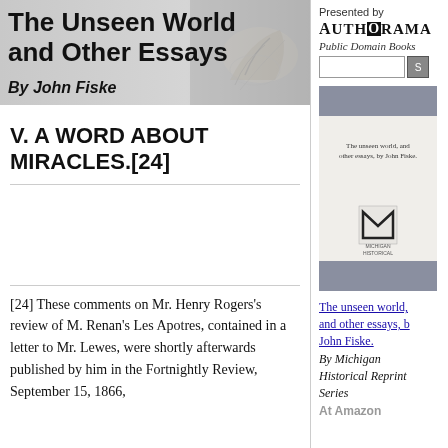The Unseen World and Other Essays
By John Fiske
V. A WORD ABOUT MIRACLES.[24]
[24] These comments on Mr. Henry Rogers’s review of M. Renan’s Les Apotres, contained in a letter to Mr. Lewes, were shortly afterwards published by him in the Fortnightly Review, September 15, 1866,
Presented by
AUTHORAMA
Public Domain Books
[Figure (illustration): Book cover for 'The unseen world, and other essays, by John Fiske' with publisher logo]
The unseen world, and other essays, by John Fiske.
By Michigan Historical Reprint Series
At Amazon